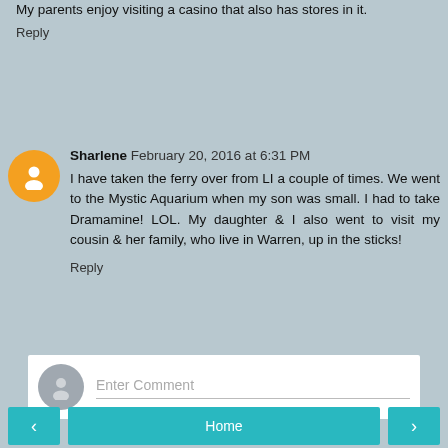My parents enjoy visiting a casino that also has stores in it.
Reply
Sharlene  February 20, 2016 at 6:31 PM
I have taken the ferry over from LI a couple of times. We went to the Mystic Aquarium when my son was small. I had to take Dramamine! LOL. My daughter & I also went to visit my cousin & her family, who live in Warren, up in the sticks!
Reply
Enter Comment
< Home >